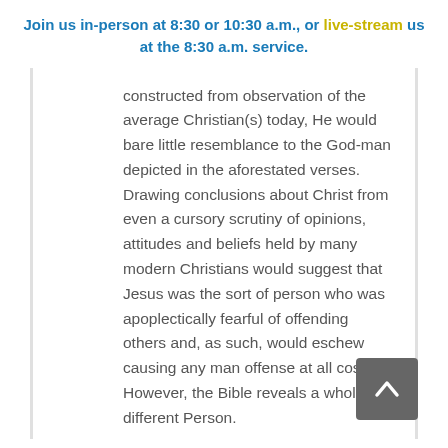Join us in-person at 8:30 or 10:30 a.m., or live-stream us at the 8:30 a.m. service.
constructed from observation of the average Christian(s) today, He would bare little resemblance to the God-man depicted in the aforestated verses. Drawing conclusions about Christ from even a cursory scrutiny of opinions, attitudes and beliefs held by many modern Christians would suggest that Jesus was the sort of person who was apoplectically fearful of offending others and, as such, would eschew causing any man offense at all costs.  However, the Bible reveals a wholly different Person.